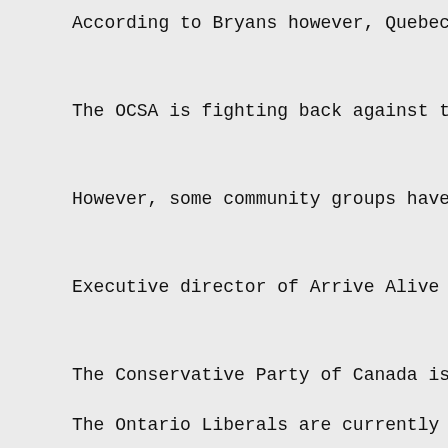According to Bryans however, Quebec is proof
The OCSA is fighting back against these so-ca
However, some community groups have rallied b
Executive director of Arrive Alive Drive Sobe
The Conservative Party of Canada is in favour
The Ontario Liberals are currently moving fo